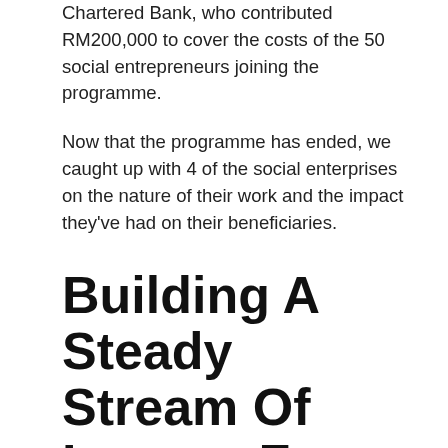Chartered Bank, who contributed RM200,000 to cover the costs of the 50 social entrepreneurs joining the programme.
Now that the programme has ended, we caught up with 4 of the social enterprises on the nature of their work and the impact they've had on their beneficiaries.
Building A Steady Stream Of Income For Small Farmers
Phytopia is one of the social enterprises (SE) from the programme. Its mission is to empower small